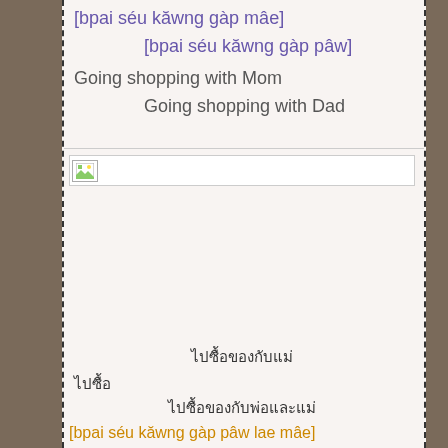[bpai séu kăwng gàp mâe]
[bpai séu kăwng gàp pâw]
Going shopping with Mom
Going shopping with Dad
[Figure (photo): Broken image placeholder with landscape icon]
ไปซื้อของกับแม่
ไปซื้อของกับพ่อ
ไปซื้อของกับพ่อและแม่